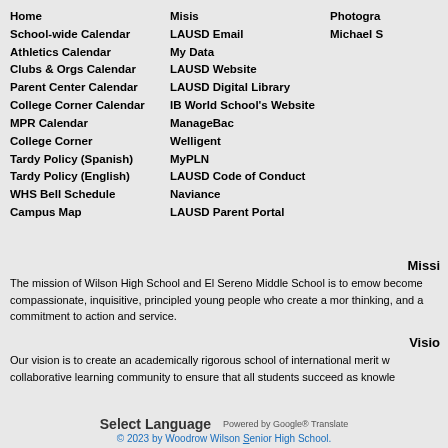Home
School-wide Calendar
Athletics Calendar
Clubs & Orgs Calendar
Parent Center Calendar
College Corner Calendar
MPR Calendar
College Corner
Tardy Policy (Spanish)
Tardy Policy (English)
WHS Bell Schedule
Campus Map
Misis
LAUSD Email
My Data
LAUSD Website
LAUSD Digital Library
IB World School's Website
ManageBac
Welligent
MyPLN
LAUSD Code of Conduct
Naviance
LAUSD Parent Portal
Photogra…
Michael S…
Missi…
The mission of Wilson High School and El Sereno Middle School is to empower students to become compassionate, inquisitive, principled young people who create a more just world through thinking, and a commitment to action and service.
Visio…
Our vision is to create an academically rigorous school of international merit with a collaborative learning community to ensure that all students succeed as knowle…
Select Language
Powered by Google® Translate
© 2023 by Woodrow Wilson Senior High School.